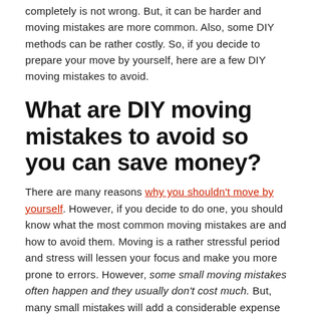completely is not wrong. But, it can be harder and moving mistakes are more common. Also, some DIY methods can be rather costly. So, if you decide to prepare your move by yourself, here are a few DIY moving mistakes to avoid.
What are DIY moving mistakes to avoid so you can save money?
There are many reasons why you shouldn't move by yourself. However, if you decide to do one, you should know what the most common moving mistakes are and how to avoid them. Moving is a rather stressful period and stress will lessen your focus and make you more prone to errors. However, some small moving mistakes often happen and they usually don't cost much. But, many small mistakes will add a considerable expense to your moving budget. For this reason, the most common DIY moving mistakes are the following.